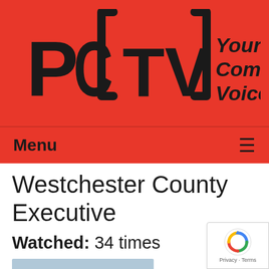[Figure (logo): PCTV logo with text 'Your Community Voice' on red background]
Menu ≡
Westchester County Executive
Watched: 34 times
[Figure (photo): Thumbnail image of a man in a suit speaking at a podium outdoors]
Village Board Meeting of 03-09-20